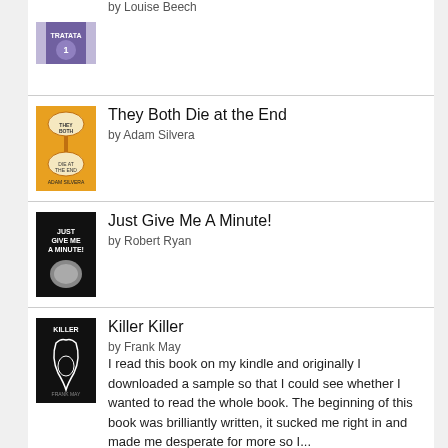[Figure (illustration): Book cover for a book by Louise Beech, partially visible at top]
by Louise Beech
[Figure (illustration): Book cover for They Both Die at the End - orange hourglass design]
They Both Die at the End
by Adam Silvera
[Figure (illustration): Book cover for Just Give Me A Minute! - black cover with white text]
Just Give Me A Minute!
by Robert Ryan
[Figure (illustration): Book cover for Killer Killer - black cover with white design]
Killer Killer
by Frank May
I read this book on my kindle and originally I downloaded a sample so that I could see whether I wanted to read the whole book. The beginning of this book was brilliantly written, it sucked me right in and made me desperate for more so I...
[Figure (illustration): Partially visible book cover at bottom of page]